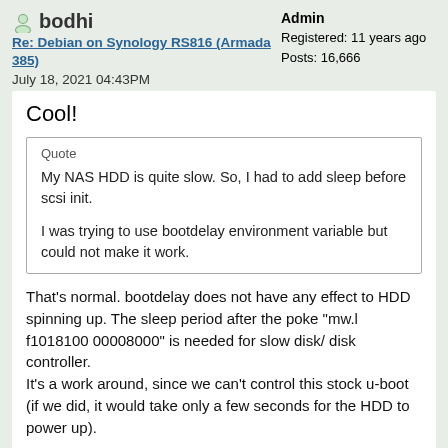bodhi — Admin — Registered: 11 years ago — Posts: 16,666
Re: Debian on Synology RS816 (Armada 385)
July 18, 2021 04:43PM
Cool!
Quote
My NAS HDD is quite slow. So, I had to add sleep before scsi init.
I was trying to use bootdelay environment variable but could not make it work.
That's normal. bootdelay does not have any effect to HDD spinning up. The sleep period after the poke "mw.l f1018100 00008000" is needed for slow disk/ disk controller.
It's a work around, since we can't control this stock u-boot (if we did, it would take only a few seconds for the HDD to power up).